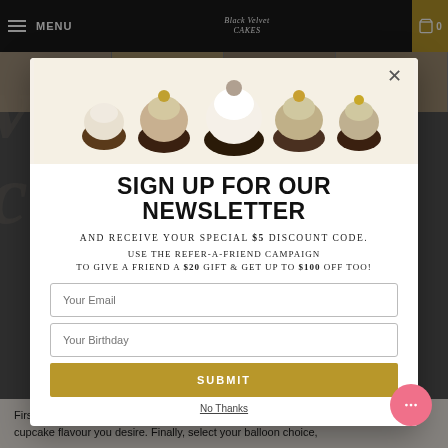[Figure (screenshot): Background dimmed bakery website with navigation bar showing menu, logo, search and cart icons, product thumbnails strip, and bottom page text about selecting cupcake flavours]
[Figure (photo): Photo of assorted cupcakes with vanilla and chocolate frosting displayed in a row at top of modal]
SIGN UP FOR OUR NEWSLETTER
AND RECEIVE YOUR SPECIAL $5 DISCOUNT CODE.
USE THE REFER-A-FRIEND CAMPAIGN TO GIVE A FRIEND A $20 GIFT & GET UP TO $100 OFF TOO!
Your Email
Your Birthday
SUBMIT
No Thanks
Firstly, select the cupcake sponge flavour below then enter the number of each cupcake flavour you desire. Finally, select your balloon choice,